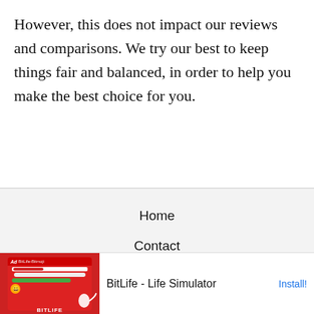However, this does not impact our reviews and comparisons. We try our best to keep things fair and balanced, in order to help you make the best choice for you.
Home
Contact
Privacy Policy
Terms and Conditions
Sitemap
[Figure (other): Advertisement banner for BitLife - Life Simulator app, showing a red game interface with emoji characters and a sperm icon, with an Install! button on the right.]